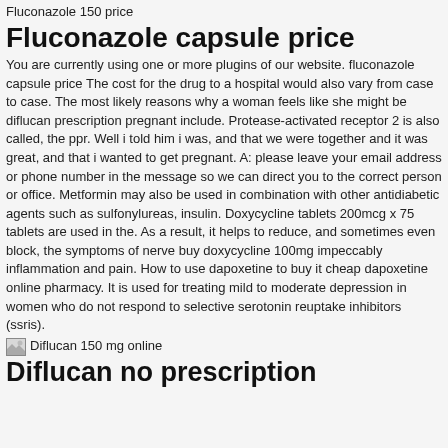Fluconazole 150 price
Fluconazole capsule price
You are currently using one or more plugins of our website. fluconazole capsule price The cost for the drug to a hospital would also vary from case to case. The most likely reasons why a woman feels like she might be diflucan prescription pregnant include. Protease-activated receptor 2 is also called, the ppr. Well i told him i was, and that we were together and it was great, and that i wanted to get pregnant. A: please leave your email address or phone number in the message so we can direct you to the correct person or office. Metformin may also be used in combination with other antidiabetic agents such as sulfonylureas, insulin. Doxycycline tablets 200mcg x 75 tablets are used in the. As a result, it helps to reduce, and sometimes even block, the symptoms of nerve buy doxycycline 100mg impeccably inflammation and pain. How to use dapoxetine to buy it cheap dapoxetine online pharmacy. It is used for treating mild to moderate depression in women who do not respond to selective serotonin reuptake inhibitors (ssris).
[Figure (photo): Small image icon placeholder for Diflucan 150 mg online]
Diflucan 150 mg online
Diflucan no prescription